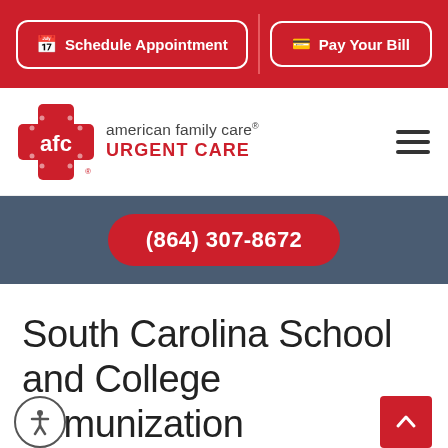Schedule Appointment | Pay Your Bill
[Figure (logo): AFC American Family Care Urgent Care logo with red cross icon]
(864) 307-8672
South Carolina School and College Immunization Requirements